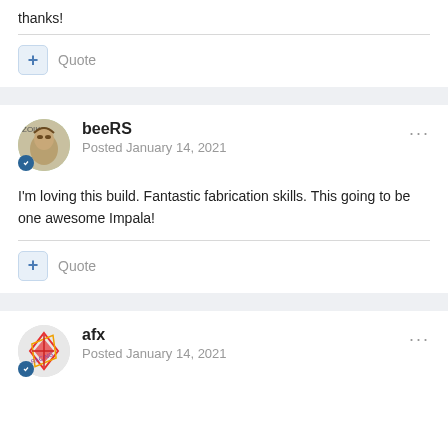thanks!
Quote
beeRS
Posted January 14, 2021
I'm loving this build. Fantastic fabrication skills. This going to be one awesome Impala!
Quote
afx
Posted January 14, 2021